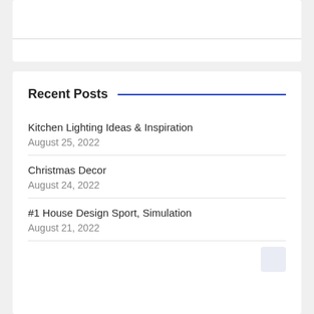Recent Posts
Kitchen Lighting Ideas & Inspiration
August 25, 2022
Christmas Decor
August 24, 2022
#1 House Design Sport, Simulation
August 21, 2022